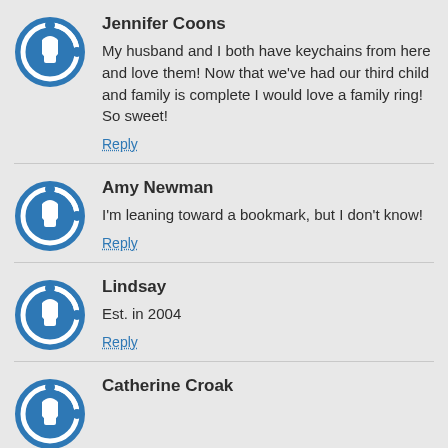Jennifer Coons — My husband and I both have keychains from here and love them! Now that we've had our third child and family is complete I would love a family ring! So sweet!
Amy Newman — I'm leaning toward a bookmark, but I don't know!
Lindsay — Est. in 2004
Catherine Croak